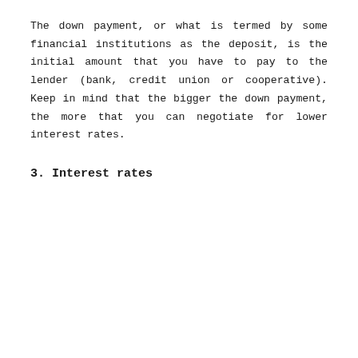The down payment, or what is termed by some financial institutions as the deposit, is the initial amount that you have to pay to the lender (bank, credit union or cooperative). Keep in mind that the bigger the down payment, the more that you can negotiate for lower interest rates.
3. Interest rates